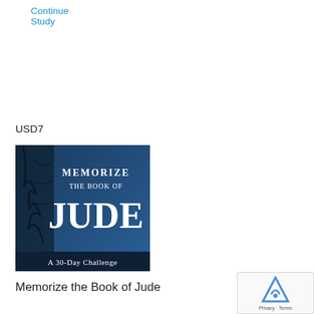Continue Study
USD7
[Figure (illustration): Book cover image with blue background showing text 'MEMORIZE THE BOOK OF JUDE - A 30-Day Challenge' with tree branch silhouette on the left side]
Memorize the Book of Jude